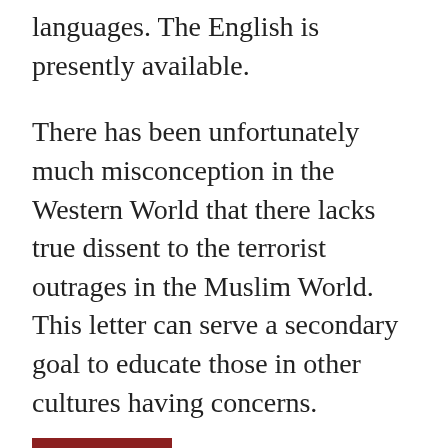languages. The English is presently available.
There has been unfortunately much misconception in the Western World that there lacks true dissent to the terrorist outrages in the Muslim World.  This letter can serve a secondary goal to educate those in other cultures having concerns.
Here follows the contents of the Open Letter: